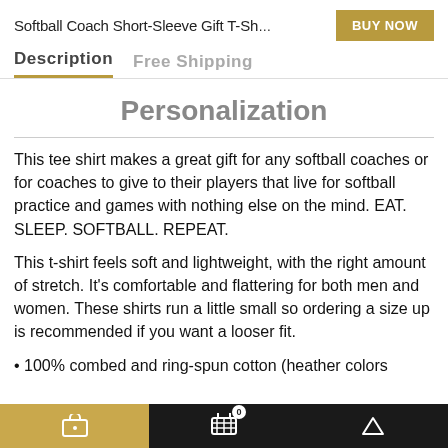Softball Coach Short-Sleeve Gift T-Sh...
Description   Free Shipping
Personalization
This tee shirt makes a great gift for any softball coaches or for coaches to give to their players that live for softball practice and games with nothing else on the mind. EAT. SLEEP. SOFTBALL. REPEAT.
This t-shirt feels soft and lightweight, with the right amount of stretch. It's comfortable and flattering for both men and women. These shirts run a little small so ordering a size up is recommended if you want a looser fit.
• 100% combed and ring-spun cotton (heather colors
cart  basket 0  up-arrow